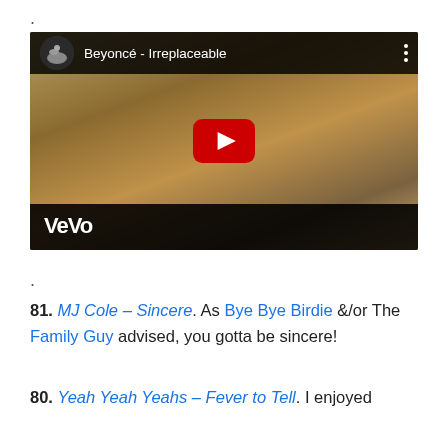.
[Figure (screenshot): YouTube/Vevo embedded video player showing Beyoncé - Irreplaceable music video thumbnail with play button]
.
81. MJ Cole – Sincere. As Bye Bye Birdie &/or The Family Guy advised, you gotta be sincere!
80. Yeah Yeah Yeahs – Fever to Tell. I enjoyed